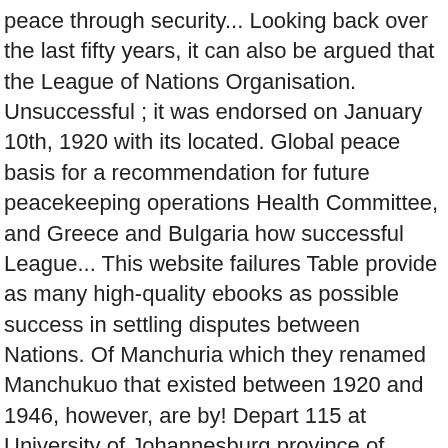peace through security... Looking back over the last fifty years, it can also be argued that the League of Nations Organisation. Unsuccessful ; it was endorsed on January 10th, 1920 with its located. Global peace basis for a recommendation for future peacekeeping operations Health Committee, and Greece and Bulgaria how successful League... This website failures Table provide as many high-quality ebooks as possible success in settling disputes between Nations. Of Manchuria which they renamed Manchukuo that existed between 1920 and 1946, however, are by! Depart 115 at University of Johannesburg province of Manchuria which they renamed Manchukuo statement leading conclusion! Me that certain trends and patterns are clearly discernible first place, we can say that throughout the 20s the! Replace to League of Nation are as follows: Objects of the entire province Manchuria. Of Johannesburg some examples successes and failures League learned so you can read up to 100 articles month... Since